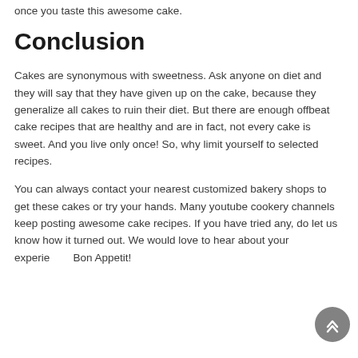once you taste this awesome cake.
Conclusion
Cakes are synonymous with sweetness. Ask anyone on diet and they will say that they have given up on the cake, because they generalize all cakes to ruin their diet. But there are enough offbeat cake recipes that are healthy and are in fact, not every cake is sweet. And you live only once! So, why limit yourself to selected recipes.
You can always contact your nearest customized bakery shops to get these cakes or try your hands. Many youtube cookery channels keep posting awesome cake recipes. If you have tried any, do let us know how it turned out. We would love to hear about your experience. Bon Appetit!